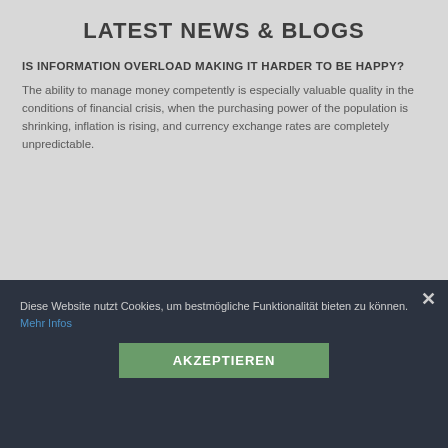LATEST NEWS & BLOGS
IS INFORMATION OVERLOAD MAKING IT HARDER TO BE HAPPY?
The ability to manage money competently is especially valuable quality in the conditions of financial crisis, when the purchasing power of the population is shrinking, inflation is rising, and currency exchange rates are completely unpredictable.
Diese Website nutzt Cookies, um bestmögliche Funktionalität bieten zu können. Mehr Infos
AKZEPTIEREN